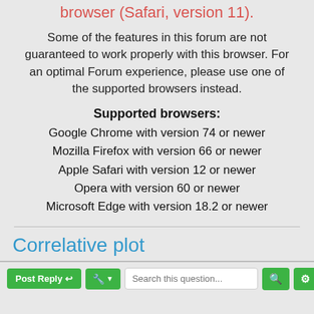browser (Safari, version 11).
Some of the features in this forum are not guaranteed to work properly with this browser. For an optimal Forum experience, please use one of the supported browsers instead.
Supported browsers:
Google Chrome with version 74 or newer
Mozilla Firefox with version 66 or newer
Apple Safari with version 12 or newer
Opera with version 60 or newer
Microsoft Edge with version 18.2 or newer
Correlative plot
Post Reply | wrench | Search this question...